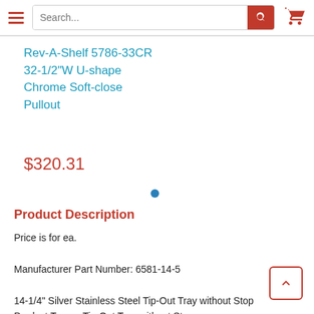Search bar with hamburger menu and cart icon
Rev-A-Shelf 5786-33CR 32-1/2"W U-shape Chrome Soft-close Pullout
$320.31
Product Description
Price is for ea.

Manufacturer Part Number: 6581-14-5

14-1/4" Silver Stainless Steel Tip-Out Tray without Stop
Product Type = Tip-Out Tray without Stop
Finish = Chrome
Width = 14-1/4"
Material = Stainless Steel